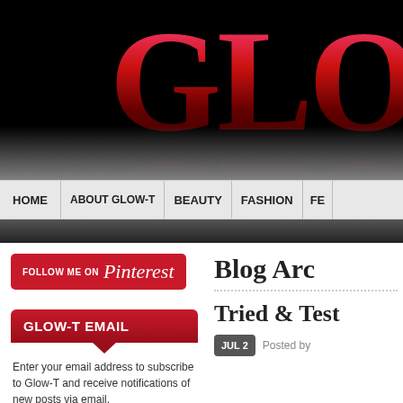[Figure (logo): Glow-T blog header banner with large stylized GLO letters in pink/red gradient on black background with reflection effect]
HOME | ABOUT GLOW-T | BEAUTY | FASHION | FE...
[Figure (screenshot): Dark navigation strip below main nav bar]
[Figure (logo): Follow me on Pinterest button in red]
GLOW-T EMAIL
Enter your email address to subscribe to Glow-T and receive notifications of new posts via email.
Blog Arc
Tried & Test
JUL 2  Posted by